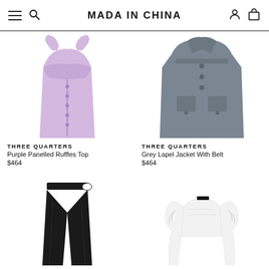MADA IN CHINA
[Figure (photo): Purple Panelled Ruffles Top — lavender/purple sleeveless top with ruffle strap details and button front]
THREE QUARTERS
Purple Panelled Ruffles Top
$464
[Figure (photo): Grey Lapel Jacket With Belt — grey structured jacket with lapel collar, front buttons, and belt detail]
THREE QUARTERS
Grey Lapel Jacket With Belt
$464
[Figure (photo): Black wide-leg trousers with high waist cutout detail]
[Figure (photo): White puff-sleeve cropped top with ruched gathered sleeve details]